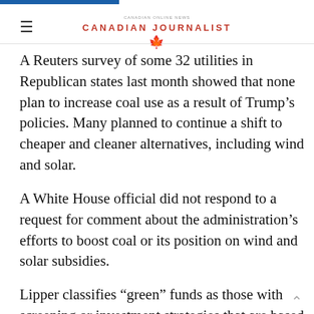Canadian Journalist
A Reuters survey of some 32 utilities in Republican states last month showed that none plan to increase coal use as a result of Trump’s policies. Many planned to continue a shift to cheaper and cleaner alternatives, including wind and solar.
A White House official did not respond to a request for comment about the administration’s efforts to boost coal or its position on wind and solar subsidies.
Lipper classifies “green” funds as those with screening or investment strategies that are based solely on environmental criteria. Many make it a point to avoid purchasing shares of traditional oil, gas or mining companies.